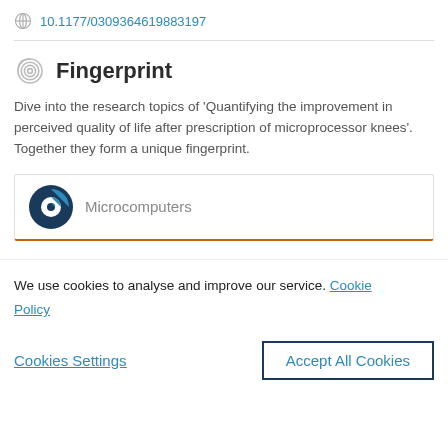10.1177/0309364619883197
Fingerprint
Dive into the research topics of 'Quantifying the improvement in perceived quality of life after prescription of microprocessor knees'. Together they form a unique fingerprint.
Microcomputers
We use cookies to analyse and improve our service. Cookie Policy
Cookies Settings
Accept All Cookies